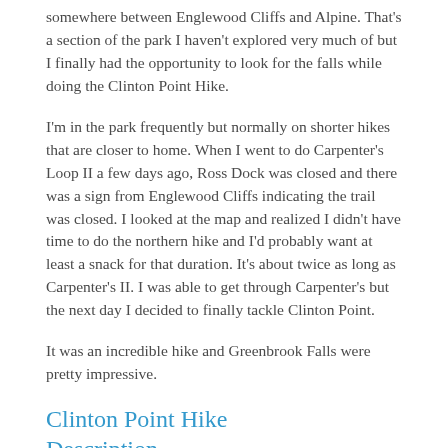somewhere between Englewood Cliffs and Alpine. That's a section of the park I haven't explored very much of but I finally had the opportunity to look for the falls while doing the Clinton Point Hike.
I'm in the park frequently but normally on shorter hikes that are closer to home. When I went to do Carpenter's Loop II a few days ago, Ross Dock was closed and there was a sign from Englewood Cliffs indicating the trail was closed. I looked at the map and realized I didn't have time to do the northern hike and I'd probably want at least a snack for that duration. It's about twice as long as Carpenter's II. I was able to get through Carpenter's but the next day I decided to finally tackle Clinton Point.
It was an incredible hike and Greenbrook Falls were pretty impressive.
Clinton Point Hike Description